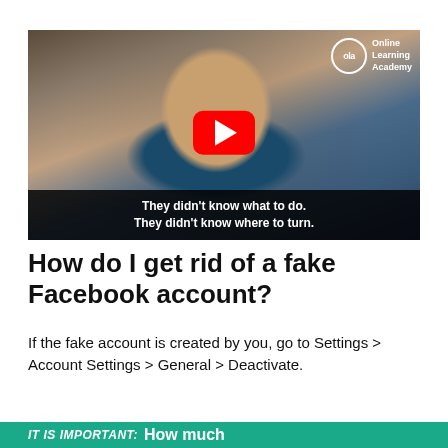[Figure (screenshot): YouTube-style video thumbnail showing a man sitting at a desk, with an Online Learning Academy badge in the top right corner, a red play button in the center, and subtitles at the bottom reading 'They didn't know what to do. They didn't know where to turn.']
How do I get rid of a fake Facebook account?
If the fake account is created by you, go to Settings > Account Settings > General > Deactivate.
IT IS IMPORTANT:  How much